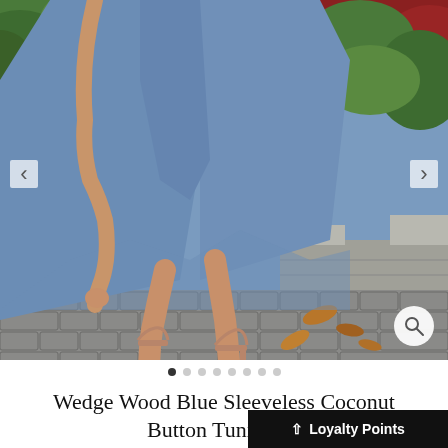[Figure (photo): A woman wearing a wedge wood blue sleeveless asymmetric tunic dress with a high-low hem, paired with nude strappy sandals. She is standing on a cobblestone/paved path with lush green tropical plants and a stone wall/bench in the background. The photo shows from waist down. Navigation arrows visible on left and right sides. A zoom/magnify button in the bottom-right corner.]
Wedge Wood Blue Sleeveless Coconut Button Tunic Dress